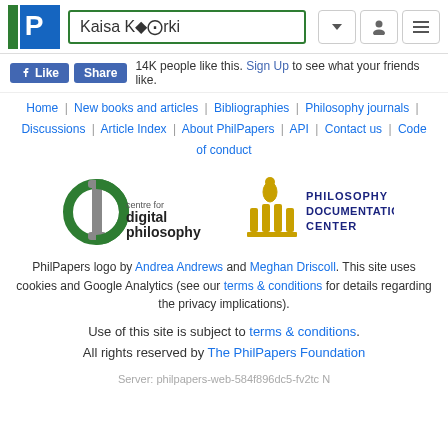Kaisa Kö̈rki
14K people like this. Sign Up to see what your friends like.
Home | New books and articles | Bibliographies | Philosophy journals | Discussions | Article Index | About PhilPapers | API | Contact us | Code of conduct
[Figure (logo): Centre for Digital Philosophy logo]
[Figure (logo): Philosophy Documentation Center logo]
PhilPapers logo by Andrea Andrews and Meghan Driscoll. This site uses cookies and Google Analytics (see our terms & conditions for details regarding the privacy implications).
Use of this site is subject to terms & conditions. All rights reserved by The PhilPapers Foundation
Server: philpapers-web-584f896dc5-fv2tc N